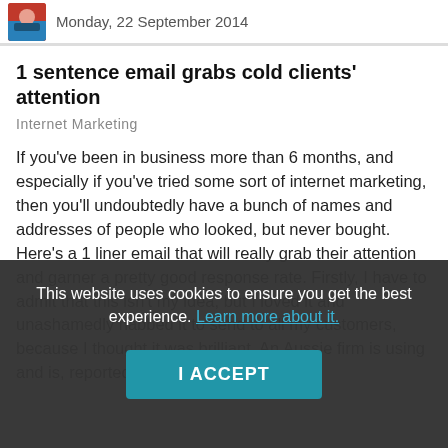Monday, 22 September 2014
1 sentence email grabs cold clients' attention
Internet Marketing
If you've been in business more than 6 months, and especially if you've tried some sort of internet marketing, then you'll undoubtedly have a bunch of names and addresses of people who looked, but never bought. Here's a 1 liner email that will really grab their attention and garner a pretty good response rate. Firstly, I have to admit that this isn't my idea, but I loved it and unashamedly nabbed it to send to all my customers, because I thought it was brilliant. An Aussie firm is using and is, reportedly,
This website uses cookies to ensure you get the best experience. Learn more about it.
I ACCEPT